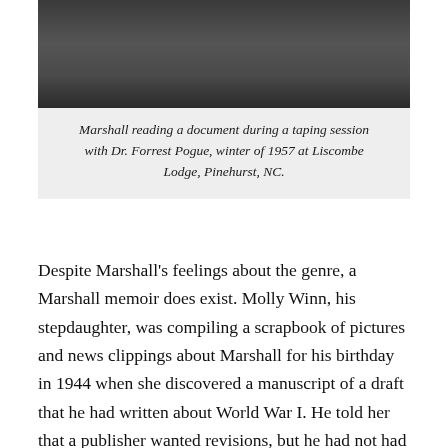[Figure (photo): Black and white photograph of Marshall reading a document during a taping session, partially visible at top of page.]
Marshall reading a document during a taping session with Dr. Forrest Pogue, winter of 1957 at Liscombe Lodge, Pinehurst, NC.
Despite Marshall's feelings about the genre, a Marshall memoir does exist. Molly Winn, his stepdaughter, was compiling a scrapbook of pictures and news clippings about Marshall for his birthday in 1944 when she discovered a manuscript of a draft that he had written about World War I. He told her that a publisher wanted revisions, but he had not had the time to revise it. He told her to destroy the manuscript, but a copy survived, and Molly had it published in 1976: Memoirs of My Services in the World War, 1917-1918. (nb — available on